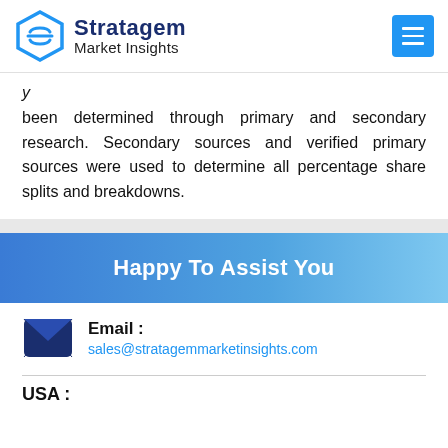Stratagem Market Insights
been determined through primary and secondary research. Secondary sources and verified primary sources were used to determine all percentage share splits and breakdowns.
Happy To Assist You
Email : sales@stratagemmarketinsights.com
USA :